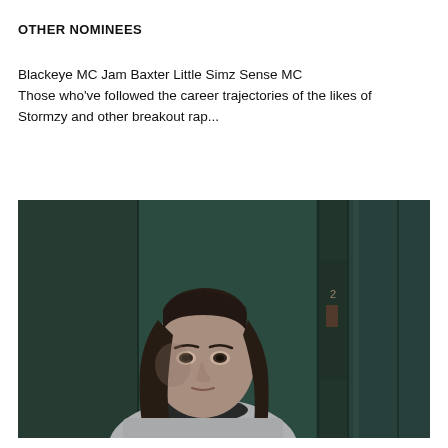OTHER NOMINEES
Blackeye MC Jam Baxter Little Simz Sense MC
Those who've followed the career trajectories of the likes of Stormzy and other breakout rap...
[Figure (photo): A young woman with long dark hair wearing a light grey sweatshirt, photographed in front of dark green metal lockers or panels]